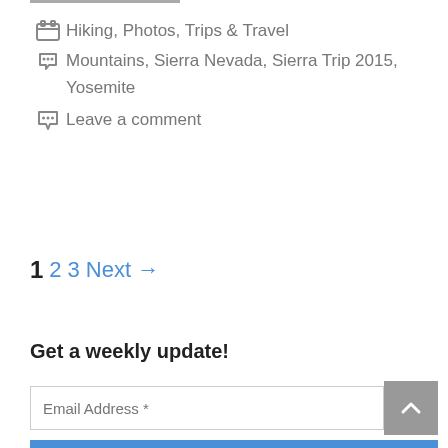Hiking, Photos, Trips & Travel
Mountains, Sierra Nevada, Sierra Trip 2015, Yosemite
Leave a comment
1 2 3 Next →
Get a weekly update!
Email Address *